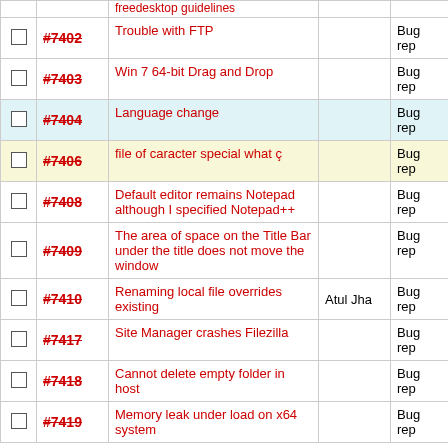|  | ID | Description | User | Type |
| --- | --- | --- | --- | --- |
|  | #7402 | Trouble with FTP |  | Bug rep |
|  | #7403 | Win 7 64-bit Drag and Drop |  | Bug rep |
|  | #7404 | Language change |  | Bug rep |
|  | #7406 | file of caracter special what ç |  | Bug rep |
|  | #7408 | Default editor remains Notepad although I specified Notepad++ |  | Bug rep |
|  | #7409 | The area of space on the Title Bar under the title does not move the window |  | Bug rep |
|  | #7410 | Renaming local file overrides existing | Atul Jha | Bug rep |
|  | #7417 | Site Manager crashes Filezilla |  | Bug rep |
|  | #7418 | Cannot delete empty folder in host |  | Bug rep |
|  | #7419 | Memory leak under load on x64 system |  | Bug rep |